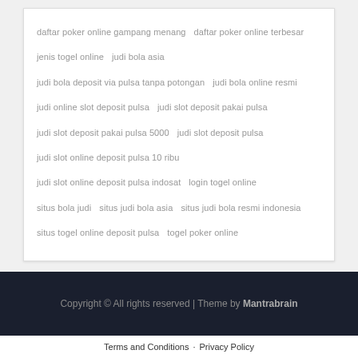daftar poker online gampang menang
daftar poker online terbesar
jenis togel online
judi bola asia
judi bola deposit via pulsa tanpa potongan
judi bola online resmi
judi online slot deposit pulsa
judi slot deposit pakai pulsa
judi slot deposit pakai pulsa 5000
judi slot deposit pulsa
judi slot online deposit pulsa 10 ribu
judi slot online deposit pulsa indosat
login togel online
situs bola judi
situs judi bola asia
situs judi bola resmi indonesia
situs togel online deposit pulsa
togel poker online
Copyright © All rights reserved | Theme by Mantrabrain
Terms and Conditions · Privacy Policy